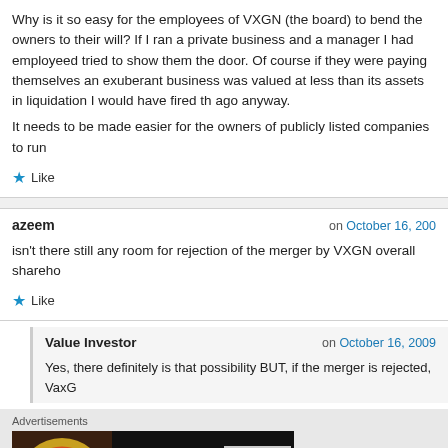Why is it so easy for the employees of VXGN (the board) to bend the owners to their will? If I ran a private business and a manager I had employeed tried to show them the door. Of course if they were paying themselves an exuberant business was valued at less than its assets in liquidation I would have fired th ago anyway.

It needs to be made easier for the owners of publicly listed companies to run
Like
azeem on October 16, 200
isn't there still any room for rejection of the merger by VXGN overall shareho
Like
Value Investor on October 16, 2009
Yes, there definitely is that possibility BUT, if the merger is rejected, VaxG
Advertisements
[Figure (photo): Seamless food delivery advertisement banner showing pizza image on left, red Seamless logo button in center, and ORDER NOW box on right, on dark background]